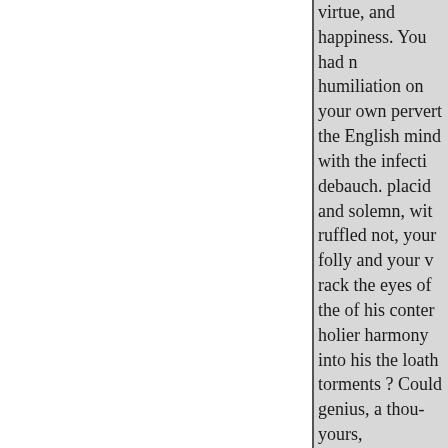virtue, and happiness. You had n humiliation on your own pervert the English mind with the infecti debauch. placid and solemn, wit ruffled not, your folly and your v rack the eyes of the of his conter holier harmony into his the loath torments ? Could genius, a thou- yours,

   He never forgot that his poetry ornament of remorse, to make hi abuse the gifts Beside your pillo

tant" respires the contaminating his fellow-men? For shame! my If you virgin breath, and dim the despair of enof your person or o yourself from the graded, and le until

you had expiated, in weapon of t phrenzy been less incurable, her

ministrations might have soothe